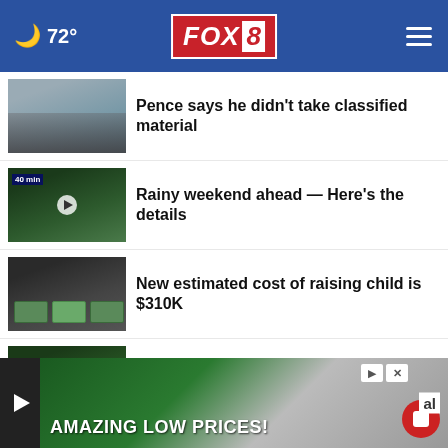72° FOX 8
Pence says he didn't take classified material
Rainy weekend ahead — Here's the details
New estimated cost of raising child is $310K
'Ferris Bueller's Day Off' spin-off in the works
How to get 'free' Sam's Club, Costco memberships
[Figure (screenshot): Advertisement banner showing AMAZING LOW PRICES! with video overlay controls]